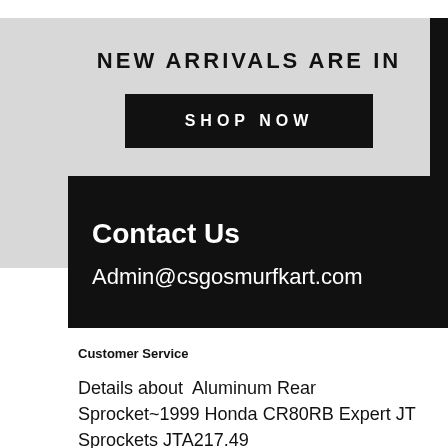NEW ARRIVALS ARE IN
SHOP NOW
Contact Us
Admin@csgosmurfkart.com
Customer Service
Details about  Aluminum Rear Sprocket~1999 Honda CR80RB Expert JT Sprockets JTA217.49